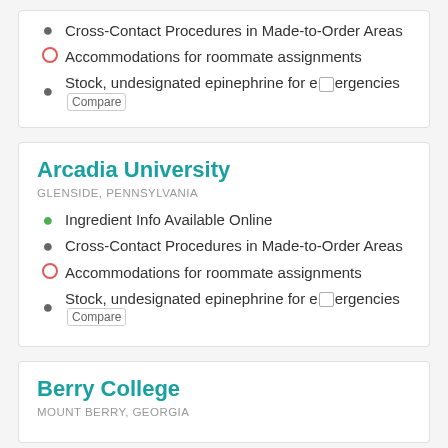Cross-Contact Procedures in Made-to-Order Areas
Accommodations for roommate assignments
Stock, undesignated epinephrine for emergencies  Compare
Arcadia University
GLENSIDE, PENNSYLVANIA
Ingredient Info Available Online
Cross-Contact Procedures in Made-to-Order Areas
Accommodations for roommate assignments
Stock, undesignated epinephrine for emergencies  Compare
Berry College
MOUNT BERRY, GEORGIA